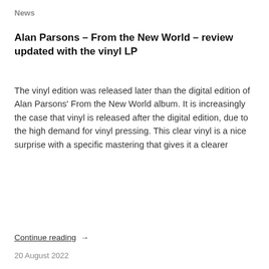News
Alan Parsons – From the New World – review updated with the vinyl LP
The vinyl edition was released later than the digital edition of Alan Parsons' From the New World album. It is increasingly the case that vinyl is released after the digital edition, due to the high demand for vinyl pressing. This clear vinyl is a nice surprise with a specific mastering that gives it a clearer
Continue reading  →
20 August 2022
[Figure (logo): Partial logo image showing large black cursive/script lettering 'ME' or similar monogram at the bottom of the page]